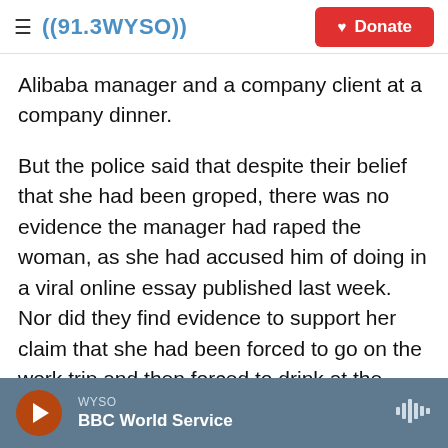((91.3WYSO)) Donate
Alibaba manager and a company client at a company dinner.
But the police said that despite their belief that she had been groped, there was no evidence the manager had raped the woman, as she had accused him of doing in a viral online essay published last week. Nor did they find evidence to support her claim that she had been forced to go on the work trip and then forced to drink at the company dinner.
Police do say security footage shows the manager
WYSO BBC World Service